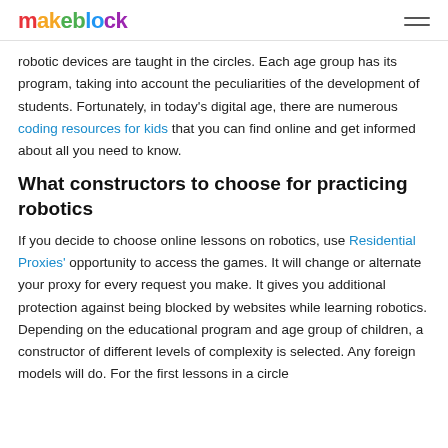makeblock
robotic devices are taught in the circles. Each age group has its program, taking into account the peculiarities of the development of students. Fortunately, in today’s digital age, there are numerous coding resources for kids that you can find online and get informed about all you need to know.
What constructors to choose for practicing robotics
If you decide to choose online lessons on robotics, use Residential Proxies’ opportunity to access the games. It will change or alternate your proxy for every request you make. It gives you additional protection against being blocked by websites while learning robotics. Depending on the educational program and age group of children, a constructor of different levels of complexity is selected. Any foreign models will do. For the first lessons in a circle